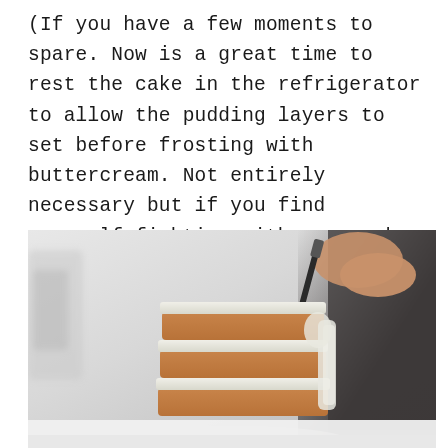(If you have a few moments to spare. Now is a great time to rest the cake in the refrigerator to allow the pudding layers to set before frosting with buttercream. Not entirely necessary but if you find yourself fighting with your cake, definitely give it a timeout in the fridge.)
[Figure (photo): A person's hands using a spatula or spreader to frost the sides of a layered cake with white buttercream. The cake has multiple golden sponge layers with white cream between them, placed on a white surface. The background is blurred light gray/white.]